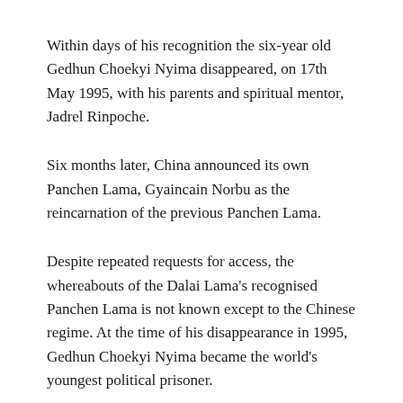Within days of his recognition the six-year old Gedhun Choekyi Nyima disappeared, on 17th May 1995, with his parents and spiritual mentor, Jadrel Rinpoche.
Six months later, China announced its own Panchen Lama, Gyaincain Norbu as the reincarnation of the previous Panchen Lama.
Despite repeated requests for access, the whereabouts of the Dalai Lama's recognised Panchen Lama is not known except to the Chinese regime. At the time of his disappearance in 1995, Gedhun Choekyi Nyima became the world's youngest political prisoner.
To coincide with this anniversary, the Global Alliance